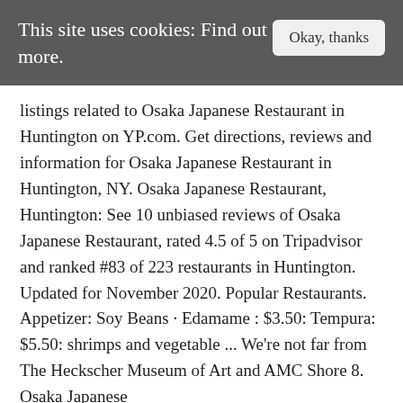This site uses cookies: Find out more.
listings related to Osaka Japanese Restaurant in Huntington on YP.com. Get directions, reviews and information for Osaka Japanese Restaurant in Huntington, NY. Osaka Japanese Restaurant, Huntington: See 10 unbiased reviews of Osaka Japanese Restaurant, rated 4.5 of 5 on Tripadvisor and ranked #83 of 223 restaurants in Huntington. Updated for November 2020. Popular Restaurants. Appetizer: Soy Beans · Edamame : $3.50: Tempura: $5.50: shrimps and vegetable ... We're not far from The Heckscher Museum of Art and AMC Shore 8. Osaka Japanese